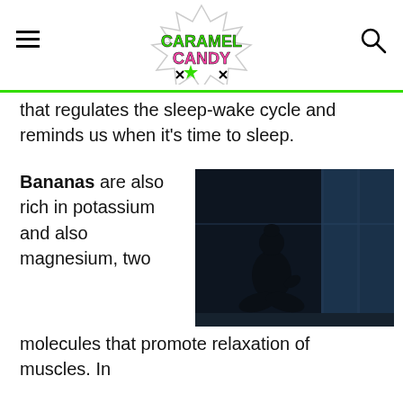CARAMELCANDY
that regulates the sleep-wake cycle and reminds us when it's time to sleep.
Bananas are also rich in potassium and also magnesium, two molecules that promote relaxation of muscles. In addition, they have a high glycemic index, which stimulates insulin production: a hormone that helps the absorption of tryptophan, which ensures restful sleep.
[Figure (photo): Silhouette of a person sitting cross-legged in front of a window in a dark room]
Pumpkin seeds are also rich in magnesium andrice also, promotes the absorption of